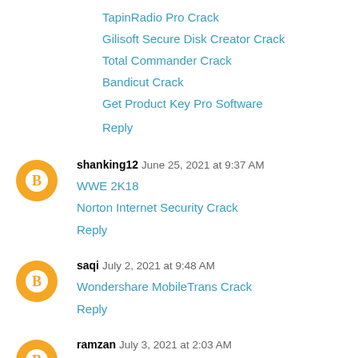TapinRadio Pro Crack
Gilisoft Secure Disk Creator Crack
Total Commander Crack
Bandicut Crack
Get Product Key Pro Software
Reply
shanking12  June 25, 2021 at 9:37 AM
WWE 2K18
Norton Internet Security Crack
Reply
saqi  July 2, 2021 at 9:48 AM
Wondershare MobileTrans Crack
Reply
ramzan  July 3, 2021 at 2:03 AM